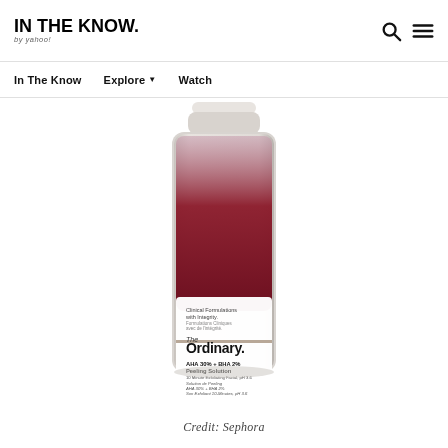IN THE KNOW. by yahoo!
In The Know
Explore
Watch
[Figure (photo): The Ordinary AHA 30% + BHA 2% Peeling Solution bottle with dark red liquid and white label showing brand name and product details]
Credit: Sephora